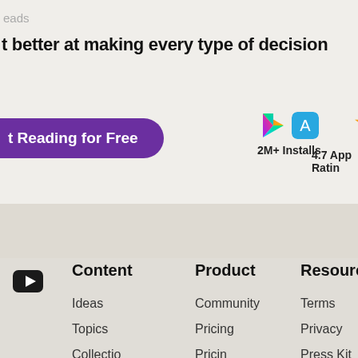eads
t better at making every type of decision
t Reading for Free
2M+ Installs
4.7 App Rating
Content
Product
Resources
Ideas
Topics
Collections
Community
Pricing
Pricing
Terms
Privacy
Press Kit